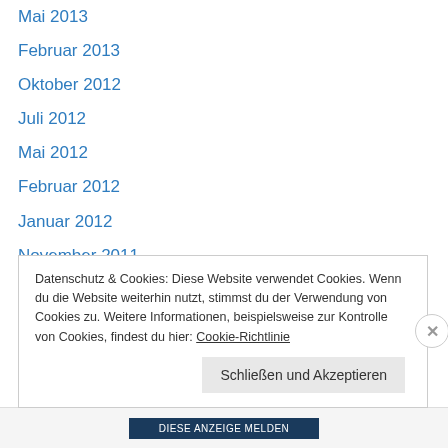Mai 2013
Februar 2013
Oktober 2012
Juli 2012
Mai 2012
Februar 2012
Januar 2012
November 2011
Oktober 2011
Juli 2011
April 2011
September 2010
August 2010
Mai 2010 (truncated)
Datenschutz & Cookies: Diese Website verwendet Cookies. Wenn du die Website weiterhin nutzt, stimmst du der Verwendung von Cookies zu. Weitere Informationen, beispielsweise zur Kontrolle von Cookies, findest du hier: Cookie-Richtlinie
Schließen und Akzeptieren